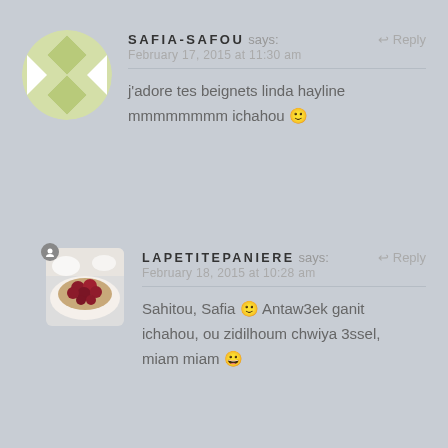[Figure (illustration): Round avatar with green and white geometric diamond/cross pattern]
SAFIA-SAFOU says:
February 17, 2015 at 11:30 am
↩ Reply
j'adore tes beignets linda hayline mmmmmmmm ichahou 🙂
[Figure (photo): Small circular photo of a raspberry tart on a white plate with a small badge icon]
LAPETITEPANIERE says:
February 18, 2015 at 10:28 am
↩ Reply
Sahitou, Safia 🙂 Antaw3ek ganit ichahou, ou zidilhoum chwiya 3ssel, miam miam 😀